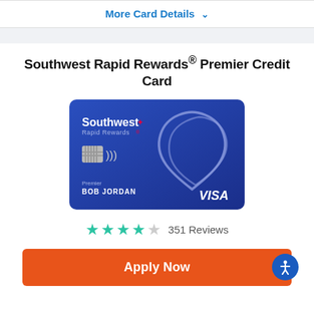More Card Details ∨
Southwest Rapid Rewards® Premier Credit Card
[Figure (photo): Southwest Rapid Rewards Premier Visa credit card, blue background with heart logo, chip, contactless symbol, name BOB JORDAN, VISA logo]
★★★★☆ 351 Reviews
Apply Now